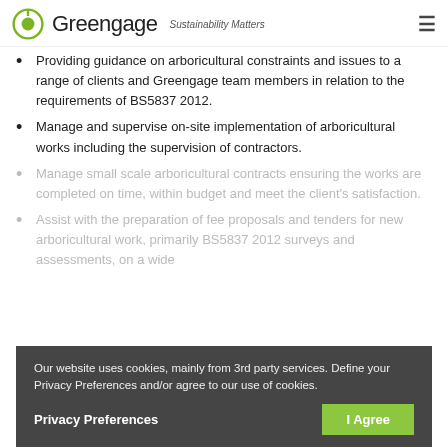Greengage — Sustainability Matters
Providing guidance on arboricultural constraints and issues to a range of clients and Greengage team members in relation to the requirements of BS5837 2012.
Manage and supervise on-site implementation of arboricultural works including the supervision of contractors.
Manage small scale arboricultural contracts ensuring the works are completed on time, within budget and meet the client's satisfaction.
Assist with the preparation of fee proposals and tenders for new arboricultural work, primarily BS5837 2012 surveys and assessments, on a wide range of sites.
Our website uses cookies, mainly from 3rd party services. Define your Privacy Preferences and/or agree to our use of cookies.
Privacy Preferences   I Agree